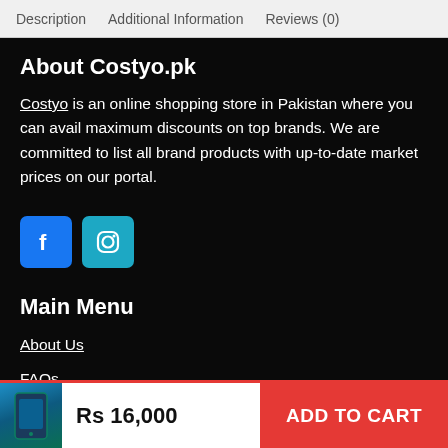Description   Additional Information   Reviews (0)
About Costyo.pk
Costyo is an online shopping store in Pakistan where you can avail maximum discounts on top brands. We are committed to list all brand products with up-to-date market prices on our portal.
[Figure (logo): Facebook and Instagram social media icon buttons]
Main Menu
About Us
FAQs
Rs 16,000   ADD TO CART